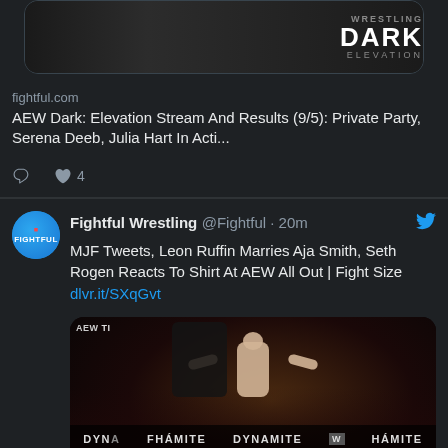[Figure (screenshot): AEW Dark wrestling show promotional image with dark background]
fightful.com
AEW Dark: Elevation Stream And Results (9/5): Private Party, Serena Deeb, Julia Hart In Acti...
4 (likes)
Fightful Wrestling @Fightful · 20m
MJF Tweets, Leon Ruffin Marries Aja Smith, Seth Rogen Reacts To Shirt At AEW All Out | Fight Size
dlvr.it/SXqGvt
[Figure (photo): Wrestler MJF celebrating in the AEW ring with arms outstretched, AEW Dynamite banners visible, MOMENT OF THE WEEK graphic at bottom]